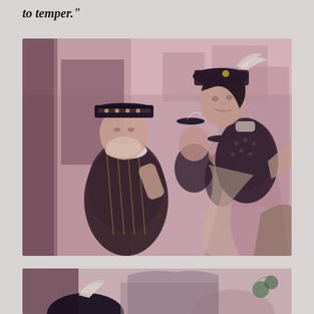to temper."
[Figure (photo): Black and white (tinted pink/rose) film still showing actors in Renaissance/Tudor period costumes. A portly man in an ornate embroidered doublet and flat Tudor cap faces a taller man leaning toward him from above, wearing a decorated doublet and feathered hat. Background figures are also in period dress, set in what appears to be a street scene.]
[Figure (photo): Partial black and white (tinted pink/rose) film still showing the top of a figure wearing a dark feathered hat, cropped at the bottom of the page.]